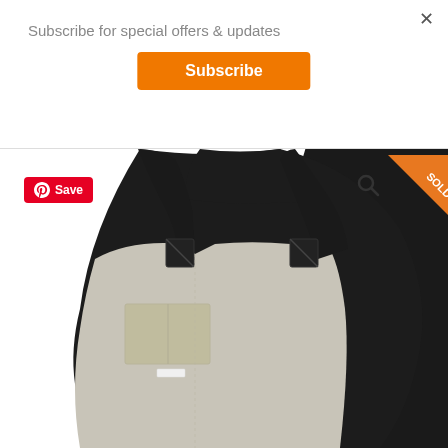Subscribe for special offers & updates
Subscribe
×
[Figure (photo): A light beige/grey apron with black leather straps displayed on a black mannequin torso. The apron has a front pocket with a small white label tag. The apron straps cross at the back. A Pinterest 'Save' button appears top left and a 'SOLD' badge appears top right.]